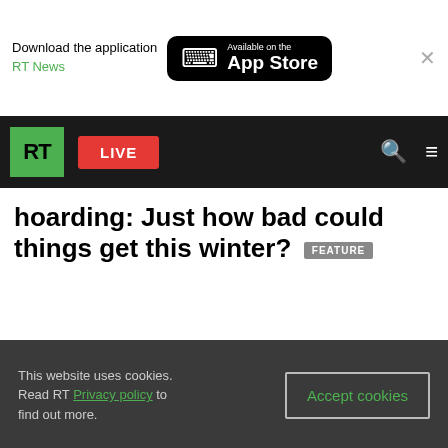Download the application RT News – Available on the App Store
RT LIVE
hoarding: Just how bad could things get this winter? FEATURE
This website uses cookies. Read RT Privacy policy to find out more.
Accept cookies